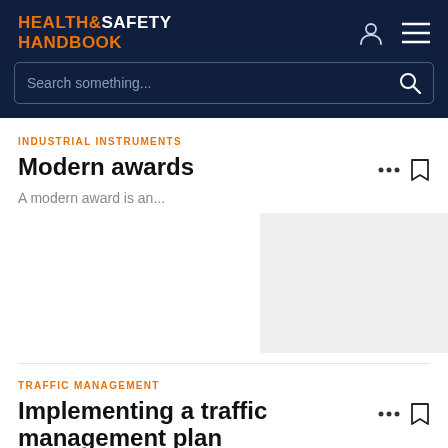HEALTH & SAFETY HANDBOOK
Search something...
INDUSTRIAL INSTRUMENTS
Modern awards
A modern award is an...
TRAFFIC MANAGEMENT
Implementing a traffic management plan